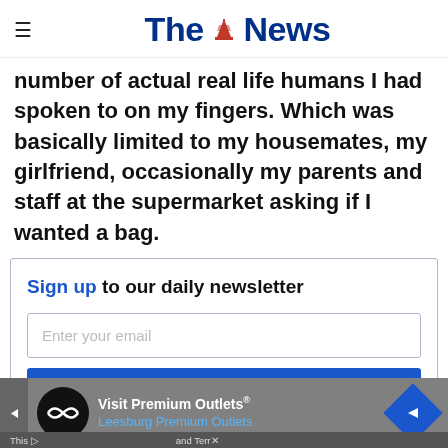The News
number of actual real life humans I had spoken to on my fingers. Which was basically limited to my housemates, my girlfriend, occasionally my parents and staff at the supermarket asking if I wanted a bag.
Sign up to our daily newsletter
Enter your email
Sign up
[Figure (other): Advertisement banner for Visit Premium Outlets / Leesburg Premium Outlets with logo and navigation arrow icons]